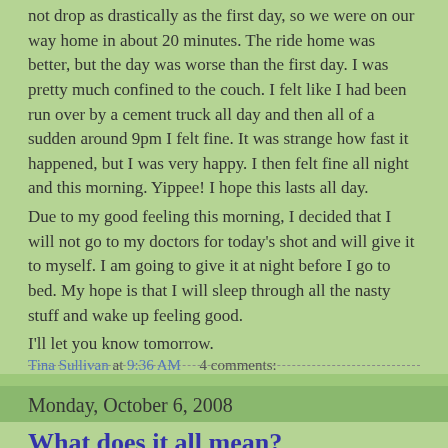not drop as drastically as the first day, so we were on our way home in about 20 minutes. The ride home was better, but the day was worse than the first day. I was pretty much confined to the couch. I felt like I had been run over by a cement truck all day and then all of a sudden around 9pm I felt fine. It was strange how fast it happened, but I was very happy. I then felt fine all night and this morning. Yippee! I hope this lasts all day.
Due to my good feeling this morning, I decided that I will not go to my doctors for today's shot and will give it to myself. I am going to give it at night before I go to bed. My hope is that I will sleep through all the nasty stuff and wake up feeling good.
I'll let you know tomorrow.
Tina Sullivan at 9:36 AM    4 comments:
Monday, October 6, 2008
What does it all mean?